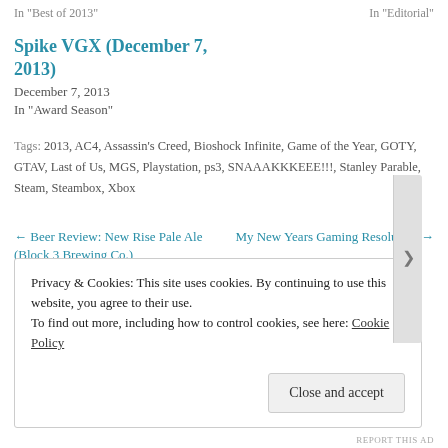In "Best of 2013"    In "Editorial"
Spike VGX (December 7, 2013)
December 7, 2013
In "Award Season"
Tags: 2013, AC4, Assassin's Creed, Bioshock Infinite, Game of the Year, GOTY, GTAV, Last of Us, MGS, Playstation, ps3, SNAAAKKKEEE!!!, Stanley Parable, Steam, Steambox, Xbox
← Beer Review: New Rise Pale Ale (Block 3 Brewing Co.)
My New Years Gaming Resolution →
Privacy & Cookies: This site uses cookies. By continuing to use this website, you agree to their use.
To find out more, including how to control cookies, see here: Cookie Policy
Close and accept
REPORT THIS AD